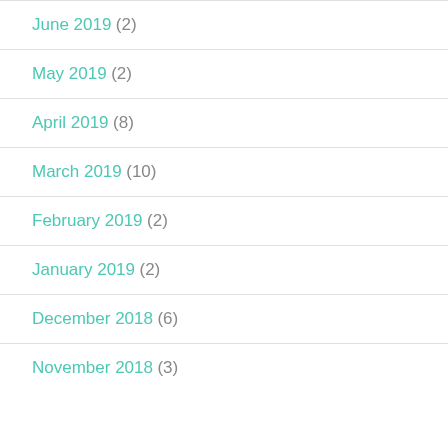June 2019 (2)
May 2019 (2)
April 2019 (8)
March 2019 (10)
February 2019 (2)
January 2019 (2)
December 2018 (6)
November 2018 (3)